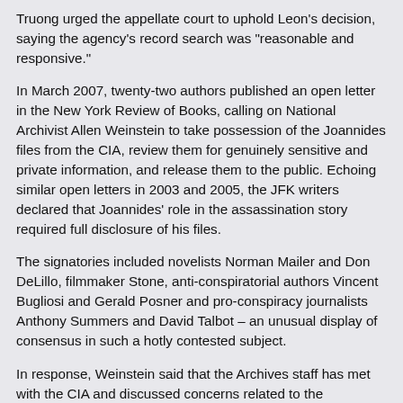Truong urged the appellate court to uphold Leon's decision, saying the agency's record search was "reasonable and responsive."
In March 2007, twenty-two authors published an open letter in the New York Review of Books, calling on National Archivist Allen Weinstein to take possession of the Joannides files from the CIA, review them for genuinely sensitive and private information, and release them to the public. Echoing similar open letters in 2003 and 2005, the JFK writers declared that Joannides' role in the assassination story required full disclosure of his files.
The signatories included novelists Norman Mailer and Don DeLillo, filmmaker Stone, anti-conspiratorial authors Vincent Bugliosi and Gerald Posner and pro-conspiracy journalists Anthony Summers and David Talbot – an unusual display of consensus in such a hotly contested subject.
In response, Weinstein said that the Archives staff has met with the CIA and discussed concerns related to the Joannides files that remain at the agency. "We expect to receive a response from the CIA in the near future," he wrote in August. Two months later, the request is still pending. When it comes to obeying the law on JFK records, the CIA is still considering its options.